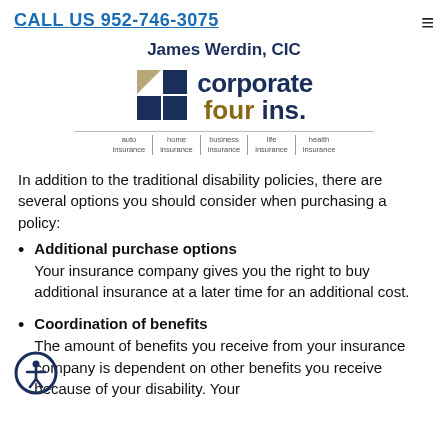CALL US 952-746-3075
James Werdin, CIC
[Figure (logo): Corporate Four Insurance logo with four-square grid icon and tagline: auto insurance | home insurance | business insurance | life insurance | health insurance]
In addition to the traditional disability policies, there are several options you should consider when purchasing a policy:
Additional purchase options
Your insurance company gives you the right to buy additional insurance at a later time for an additional cost.
Coordination of benefits
The amount of benefits you receive from your insurance company is dependent on other benefits you receive because of your disability. Your